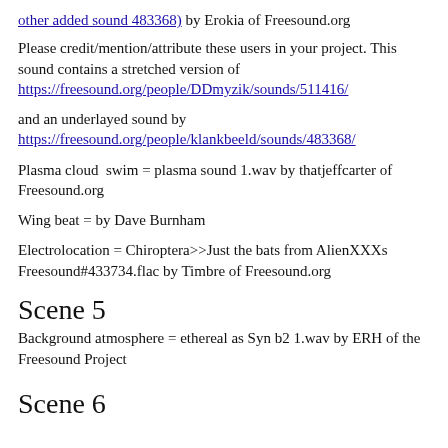other added sound 483368) by Erokia of Freesound.org
Please credit/mention/attribute these users in your project. This sound contains a stretched version of https://freesound.org/people/DDmyzik/sounds/511416/
and an underlayed sound by https://freesound.org/people/klankbeeld/sounds/483368/
Plasma cloud  swim = plasma sound 1.wav by thatjeffcarter of Freesound.org
Wing beat = by Dave Burnham
Electrolocation = Chiroptera>>Just the bats from AlienXXXs Freesound#433734.flac by Timbre of Freesound.org
Scene 5
Background atmosphere = ethereal as Syn b2 1.wav by ERH of the Freesound Project
Scene 6